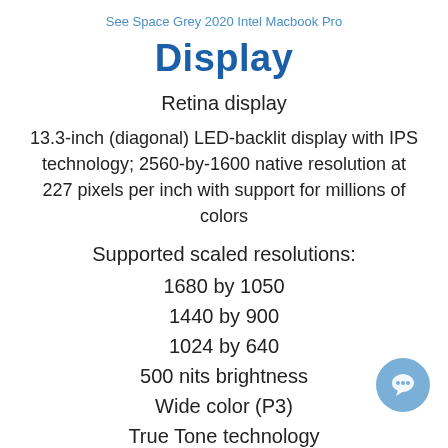See Space Grey 2020 Intel Macbook Pro
Display
Retina display
13.3-inch (diagonal) LED-backlit display with IPS technology; 2560-by-1600 native resolution at 227 pixels per inch with support for millions of colors
Supported scaled resolutions:
1680 by 1050
1440 by 900
1024 by 640
500 nits brightness
Wide color (P3)
True Tone technology